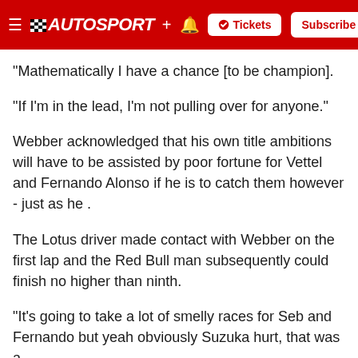AUTOSPORT
"Mathematically I have a chance [to be champion].
"If I'm in the lead, I'm not pulling over for anyone."
Webber acknowledged that his own title ambitions will have to be assisted by poor fortune for Vettel and Fernando Alonso if he is to catch them however - just as he .
The Lotus driver made contact with Webber on the first lap and the Red Bull man subsequently could finish no higher than ninth.
"It's going to take a lot of smelly races for Seb and Fernando but yeah obviously Suzuka hurt, that was a